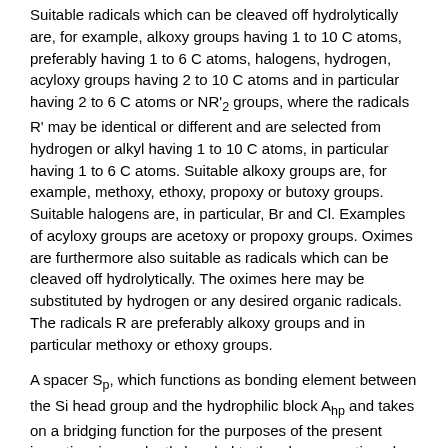Suitable radicals which can be cleaved off hydrolytically are, for example, alkoxy groups having 1 to 10 C atoms, preferably having 1 to 6 C atoms, halogens, hydrogen, acyloxy groups having 2 to 10 C atoms and in particular having 2 to 6 C atoms or NR'2 groups, where the radicals R' may be identical or different and are selected from hydrogen or alkyl having 1 to 10 C atoms, in particular having 1 to 6 C atoms. Suitable alkoxy groups are, for example, methoxy, ethoxy, propoxy or butoxy groups. Suitable halogens are, in particular, Br and Cl. Examples of acyloxy groups are acetoxy or propoxy groups. Oximes are furthermore also suitable as radicals which can be cleaved off hydrolytically. The oximes here may be substituted by hydrogen or any desired organic radicals. The radicals R are preferably alkoxy groups and in particular methoxy or ethoxy groups.
A spacer Sp, which functions as bonding element between the Si head group and the hydrophilic block Ahp and takes on a bridging function for the purposes of the present invention, is covalently bonded to the above-mentioned head group. The group Sp is either —O— or straight-chain or branched alkyl having 1-18 C atoms, straight-chain or branched alkenyl having 2-18 C atoms and one or more double bonds, straight-chain or branched alkynyl having 2-18 C atoms and one or more triple bonds, saturated, partially or fully unsaturated cycloalkyl having 3-7 C atoms, which may be substituted by alkyl groups having 1-6 C atoms.
The C1-C18-alkyl group of Sp is, for example, a methyl, ethyl, isopropyl,